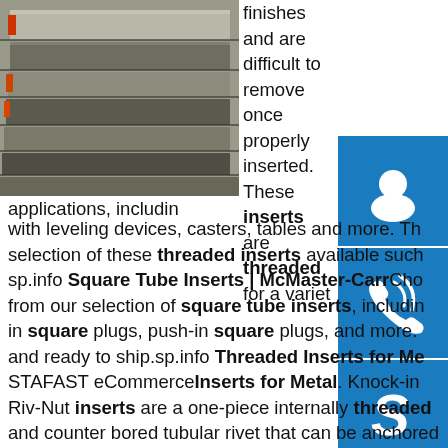[Figure (photo): Stacked metal plates or bars, gray/steel colored with red/orange markings, industrial warehouse setting]
[Figure (infographic): Blue square icon with white headset/support agent icon]
[Figure (infographic): Blue square icon with white phone/call icon]
[Figure (infographic): Blue square icon with white Skype logo icon]
finishes and are difficult to remove once properly inserted. These inserts are threaded for a variety of applications, including with leveling devices, casters, tables and more. There is a wide selection of these threaded inserts available such as those found at sp.info Square Tube Inserts | McMaster-Carr Choose from our selection of square tube inserts, including pipe-in square plugs, push-in square plugs, and more. In stock and ready to ship.sp.info Threaded Inserts for Metal - STAFAST eCommerce Inserts for Metal. Knock-in and Riv-Nut inserts are a one-piece internally threaded and counter bored tubular rivet that can be anchored entirely from one side. Tube Nuts- Spring Steel fastener to connect to round and square tubing.Also used with adjustable glides.sp.info Tube Inserts | McMaster-Carr Rated for high load capacity, use these inserts to connect threaded leveling mounts to heavy equipment. Slip these inserts